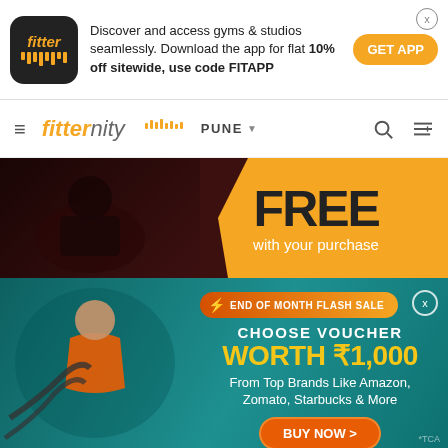[Figure (screenshot): Fitter app icon - dark background with orange 'fitter' text and bar chart graphic]
Discover and access gyms & studios seamlessly. Download the app for flat 10% off sitewide, use code FITAPP
GET APP
fitternity PUNE
[Figure (photo): Promotional banner showing person exercising with FREE with your purchase text on orange hexagon background]
[Figure (photo): END OF MONTH FLASH SALE banner with man doing battle ropes exercise. CHOOSE VOUCHER WORTH ₹1,000 From Top Brands Like Amazon, Zomato, Starbucks & More. BUY NOW button.]